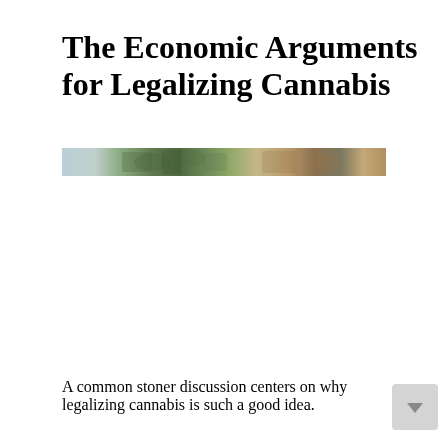The Economic Arguments for Legalizing Cannabis
[Figure (photo): Partial photograph of cannabis plant or related imagery, cropped to a horizontal strip showing plant and background detail]
A common stoner discussion centers on why legalizing cannabis is such a good idea.